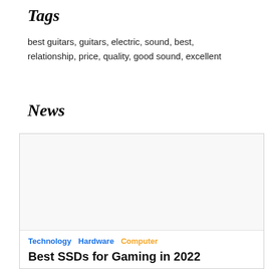Tags
best guitars, guitars, electric, sound, best, relationship, price, quality, good sound, excellent
News
[Figure (other): Empty white card image placeholder with light gray background]
Technology  Hardware  Computer
Best SSDs for Gaming in 2022
by MNP